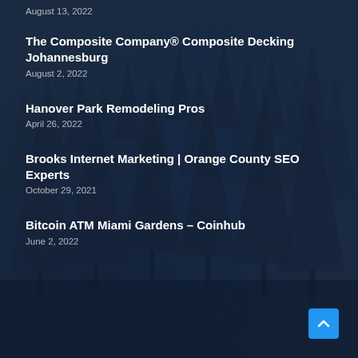August 13, 2022
The Composite Company® Composite Decking Johannesburg
August 2, 2022
Hanover Park Remodeling Pros
April 26, 2022
Brooks Internet Marketing | Orange County SEO Experts
October 29, 2021
Bitcoin ATM Miami Gardens – Coinhub
June 2, 2022